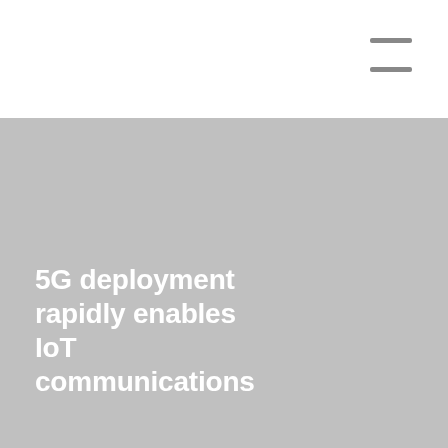5G deployment rapidly enables IoT communications